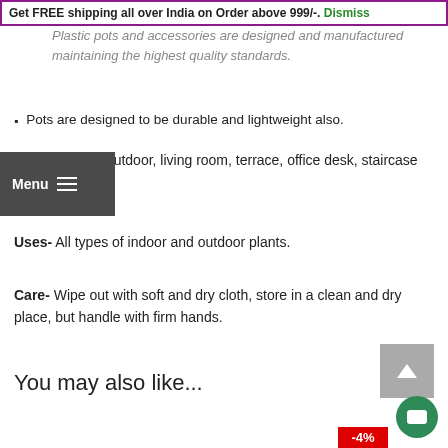Get FREE shipping all over India on Order above 999/-. Dismiss
Plastic pots and accessories are designed and manufactured maintaining the highest quality standards.
Pots are designed to be durable and lightweight also.
Place- Indoor, outdoor, living room, terrace, office desk, staircase and etc.
Uses- All types of indoor and outdoor plants.
Care- Wipe out with soft and dry cloth, store in a clean and dry place, but handle with firm hands.
You may also like...